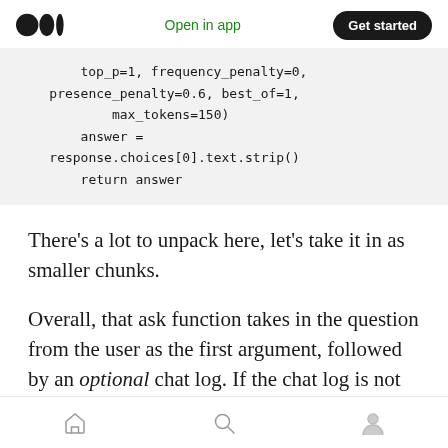Open in app | Get started
top_p=1, frequency_penalty=0,
    presence_penalty=0.6, best_of=1,
            max_tokens=150)
        answer =
    response.choices[0].text.strip()
        return answer
There's a lot to unpack here, let's take it in as smaller chunks.
Overall, that ask function takes in the question from the user as the first argument, followed by an optional chat log. If the chat log is not provided then the function uses start_chat_log